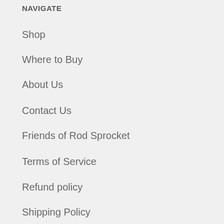NAVIGATE
Shop
Where to Buy
About Us
Contact Us
Friends of Rod Sprocket
Terms of Service
Refund policy
Shipping Policy